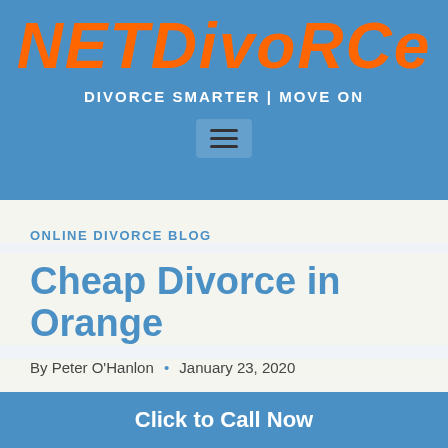[Figure (logo): NetDivorce logo with orange italic 'NET' and white italic 'DIVORCE' text on blue background]
DIVORCE SMARTER | MOVE ON
[Figure (other): Hamburger menu icon (three horizontal lines)]
ONLINE DIVORCE BLOG
Cheap Divorce in Orange
By Peter O'Hanlon • January 23, 2020
Click to Call Now